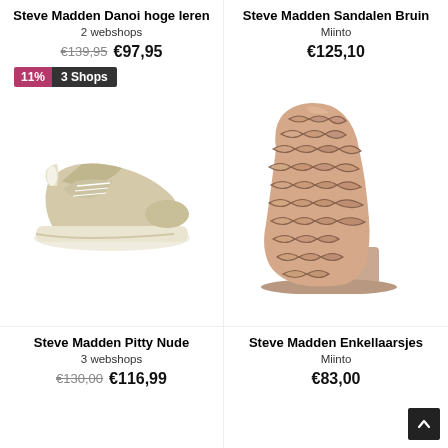Steve Madden Danoi hoge leren
2 webshops
€139,95  €97,95
[Figure (photo): Beige leather chunky sneaker with thick white sole, badge showing 11% discount and 3 Shops]
Steve Madden Pitty Nude
3 webshops
€130,00  €116,99
Steve Madden Sandalen Bruin
Miinto
€125,10
[Figure (photo): Snake print ankle boot with block heel in beige/brown python pattern]
Steve Madden Enkellaarsjes
Miinto
€83,00